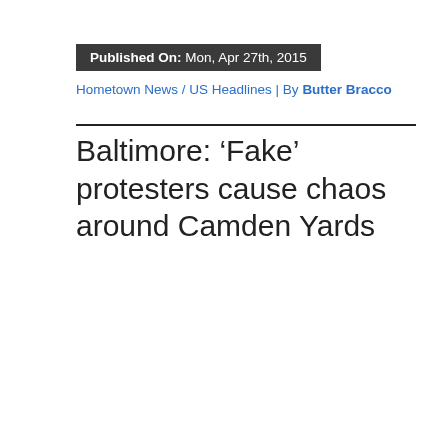Published On: Mon, Apr 27th, 2015
Hometown News / US Headlines | By Butter Bracco
Baltimore: ‘Fake’ protesters cause chaos around Camden Yards